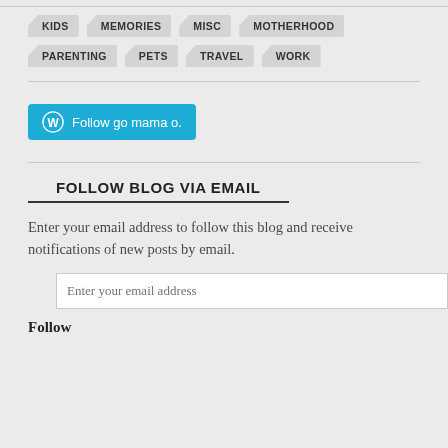KIDS  MEMORIES  MISC  MOTHERHOOD
PARENTING  PETS  TRAVEL  WORK
[Figure (other): WordPress Follow button: blue rounded rectangle with WP logo and text 'Follow go mama o.']
FOLLOW BLOG VIA EMAIL
Enter your email address to follow this blog and receive notifications of new posts by email.
Enter your email address
Follow